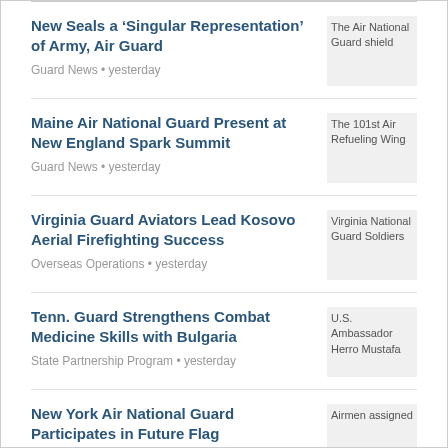New Seals a ‘Singular Representation’ of Army, Air Guard
Guard News • yesterday
[Figure (photo): The Air National Guard shield logo/image]
Maine Air National Guard Present at New England Spark Summit
Guard News • yesterday
[Figure (photo): The 101st Air Refueling Wing image]
Virginia Guard Aviators Lead Kosovo Aerial Firefighting Success
Overseas Operations • yesterday
[Figure (photo): Virginia National Guard Soldiers image]
Tenn. Guard Strengthens Combat Medicine Skills with Bulgaria
State Partnership Program • yesterday
[Figure (photo): U.S. Ambassador Herro Mustafa image]
New York Air National Guard Participates in Future Flag